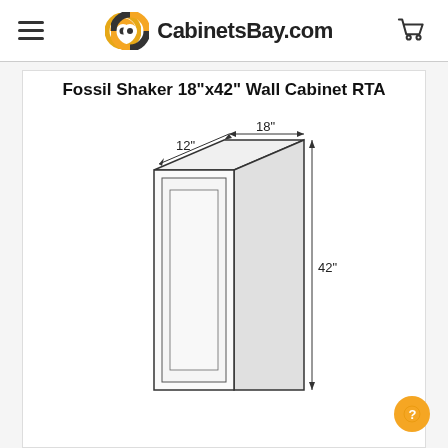CabinetsBay.com
Fossil Shaker 18"x42" Wall Cabinet RTA
[Figure (engineering-diagram): Line drawing of a tall single-door wall cabinet with dimension annotations: 12" depth (top), 18" width (top), and 42" height (right side). The cabinet is shown in a 3/4 perspective view with a shaker-style recessed panel door.]